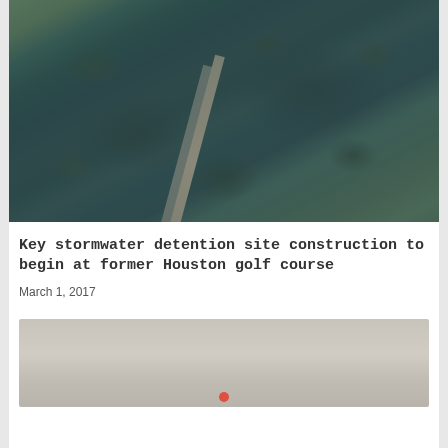[Figure (photo): Aerial photograph showing flooded landscape with a highway/road running diagonally through floodwaters, trees partially submerged, surrounding flat terrain inundated with water near Houston]
Key stormwater detention site construction to begin at former Houston golf course
March 1, 2017
[Figure (map): Map image, partially visible, appears to show a geographic/location map with a red marker dot at bottom center]